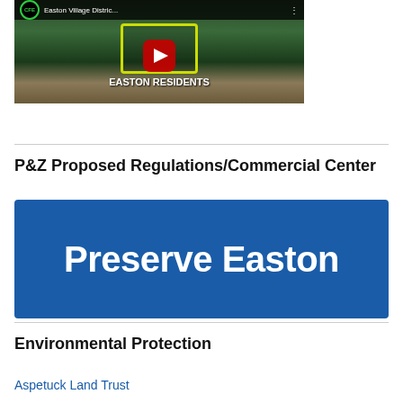[Figure (screenshot): YouTube video thumbnail showing aerial view of Easton with title 'Easton Village Distric...' and CFE logo, play button, and 'EASTON RESIDENTS' text overlay]
P&Z Proposed Regulations/Commercial Center
[Figure (logo): Blue banner with white bold text 'Preserve Easton']
Environmental Protection
Aspetuck Land Trust